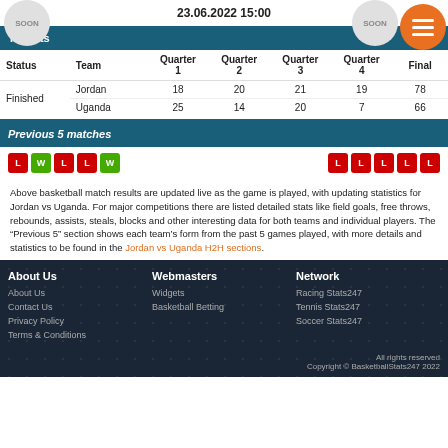23.06.2022 15:00
Results
| Status | Team | Quarter 1 | Quarter 2 | Quarter 3 | Quarter 4 | Final |
| --- | --- | --- | --- | --- | --- | --- |
| Finished | Jordan | 18 | 20 | 21 | 19 | 78 |
|  | Uganda | 25 | 14 | 20 | 7 | 66 |
Previous 5 matches
L W L L W (left) | L L L L L (right)
Above basketball match results are updated live as the game is played, with updating statistics for Jordan vs Uganda. For major competitions there are listed detailed stats like field goals, free throws, rebounds, assists, steals, blocks and other interesting data for both teams and individual players. The “Previous 5” section shows each team’s form from the past 5 games played, with more details and statistics to be found in the Jordan vs Uganda H2H sections.
About Us
About Us
Contact Us
Privacy Policy
Terms & Conditions
Webmasters
Widgets
Basketball Betting
Network
Racing Stats247
Tennis Stats247
Soccer Stats247
All rights reserved Copyright © BasketballStats247 2022